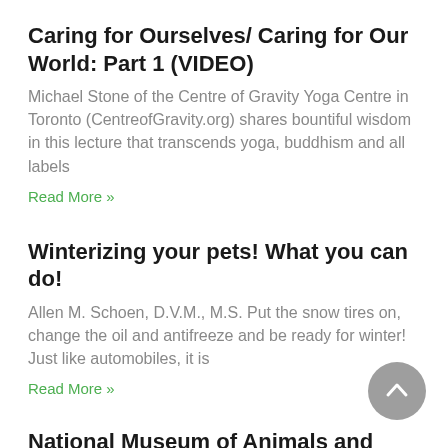Caring for Ourselves/ Caring for Our World: Part 1 (VIDEO)
Michael Stone of the Centre of Gravity Yoga Centre in Toronto (CentreofGravity.org) shares bountiful wisdom in this lecture that transcends yoga, buddhism and all labels
Read More »
Winterizing your pets! What you can do!
Allen M. Schoen, D.V.M., M.S. Put the snow tires on, change the oil and antifreeze and be ready for winter! Just like automobiles, it is
Read More »
National Museum of Animals and Society
The beliefs, philosophy and concepts of the Kindred Spirits Project seems to be evolving in the collective